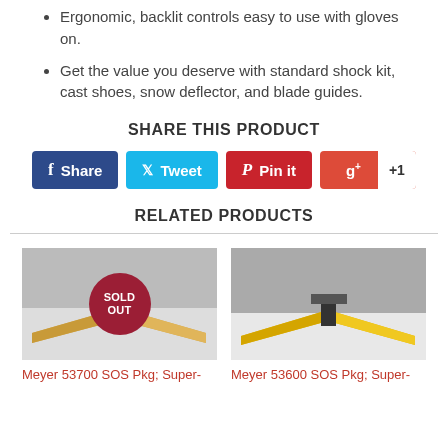Ergonomic, backlit controls easy to use with gloves on.
Get the value you deserve with standard shock kit, cast shoes, snow deflector, and blade guides.
SHARE THIS PRODUCT
[Figure (infographic): Social share buttons: Facebook Share, Tweet, Pin it, Google +1]
RELATED PRODUCTS
[Figure (photo): Snow plow product image with SOLD OUT badge overlay - Meyer 53700 SOS Pkg]
[Figure (photo): Snow plow product image - Meyer 53600 SOS Pkg]
Meyer 53700 SOS Pkg; Super-
Meyer 53600 SOS Pkg; Super-